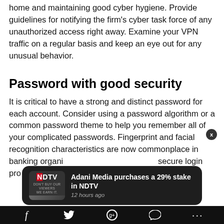home and maintaining good cyber hygiene. Provide guidelines for notifying the firm's cyber task force of any unauthorized access right away. Examine your VPN traffic on a regular basis and keep an eye out for any unusual behavior.
Password with good security
It is critical to have a strong and distinct password for each account. Consider using a password algorithm or a common password theme to help you remember all of your complicated passwords. Fingerprint and facial recognition characteristics are now commonplace in banking organi[zations to provide a more] secure login pro[cess].
[Figure (screenshot): NDTV notification overlay on dark background reading 'Adani Media purchases a 29% stake in NDTV' with timestamp '12 hours ago' and an X close button]
f [facebook] [twitter] [google] [comment] ...